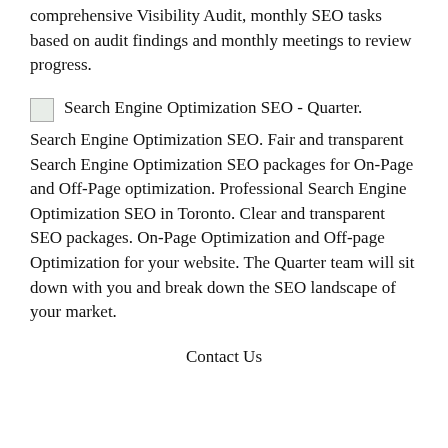comprehensive Visibility Audit, monthly SEO tasks based on audit findings and monthly meetings to review progress.
Search Engine Optimization SEO - Quarter.
Search Engine Optimization SEO. Fair and transparent Search Engine Optimization SEO packages for On-Page and Off-Page optimization. Professional Search Engine Optimization SEO in Toronto. Clear and transparent SEO packages. On-Page Optimization and Off-page Optimization for your website. The Quarter team will sit down with you and break down the SEO landscape of your market.
Contact Us